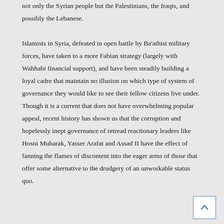not only the Syrian people but the Palestinians, the Iraqis, and possibly the Lebanese.

Islamists in Syria, defeated in open battle by Ba'athist military forces, have taken to a more Fabian strategy (largely with Wahhabi financial support), and have been steadily building a loyal cadre that maintain no illusion on which type of system of governance they would like to see their fellow citizens live under. Though it is a current that does not have overwhelming popular appeal, recent history has shown us that the corruption and hopelessly inept governance of retread reactionary leaders like Hosni Mubarak, Yasser Arafat and Assad II have the effect of fanning the flames of discontent into the eager arms of those that offer some alternative to the drudgery of an unworkable status quo.